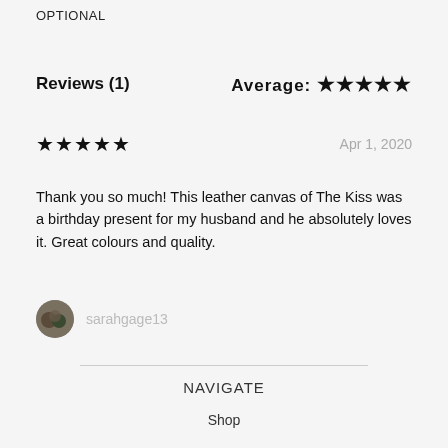OPTIONAL
Reviews (1)
Average: ★★★★★
★★★★★  Apr 1, 2020
Thank you so much! This leather canvas of The Kiss was a birthday present for my husband and he absolutely loves it. Great colours and quality.
sarahgage13
NAVIGATE
Shop